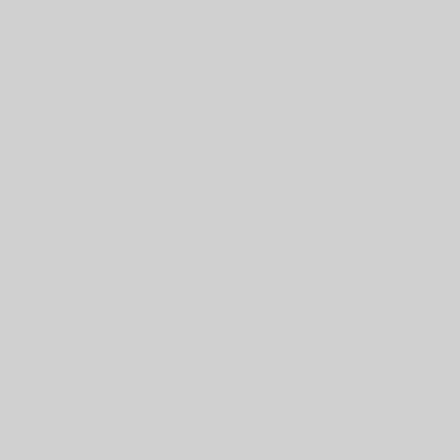opinion, it cannot bound the diff- rending the Union. I also becaus- great parties in the country long separation of the States as a fina- there are extremists in considera-

numbers who have that object in- and a baleful influence is exercis- Con- in both sections of the Uni- requested, tive masses are insens- that my name, if currence with o- withdrawn. It is true that in outs- had only in view a nomination n- none other having been suggeste- reasons above indicated, which b- decline such a nomination, apply the Vice-Presidency. These reaso- exist in unimpaired force, and I d- active part in politics without ab- deliberately formed purpose, and violence to the suspicion of insin- the Territories,

Without dwelling upon these d- The however. I am sure the wei-